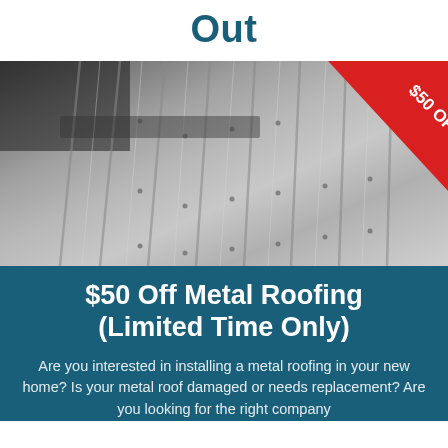Out
[Figure (photo): Close-up photo of a metal roof with standing seam panels, showing silver/grey metal panels with screws. A red triangular badge in the top-right corner reads '$50 OFF'.]
$50 Off Metal Roofing (Limited Time Only)
Are you interested in installing a metal roofing in your new home? Is your metal roof damaged or needs replacement? Are you looking for the right company